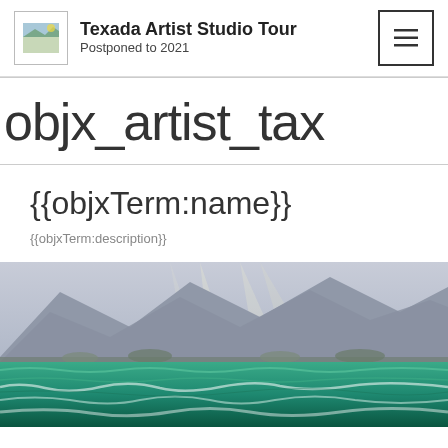Texada Artist Studio Tour
Postponed to 2021
objx_artist_tax
{{objxTerm:name}}
{{objxTerm:description}}
[Figure (photo): A seascape oil painting showing rough green ocean waves in the foreground and dramatic grey-purple mountains with light rays in the background.]